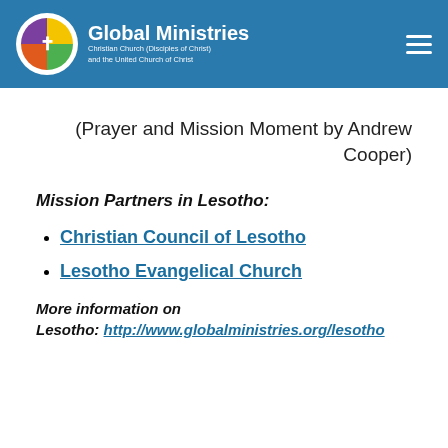Global Ministries — Christian Church (Disciples of Christ) and the United Church of Christ
(Prayer and Mission Moment by Andrew Cooper)
Mission Partners in Lesotho:
Christian Council of Lesotho
Lesotho Evangelical Church
More information on Lesotho: http://www.globalministries.org/lesotho